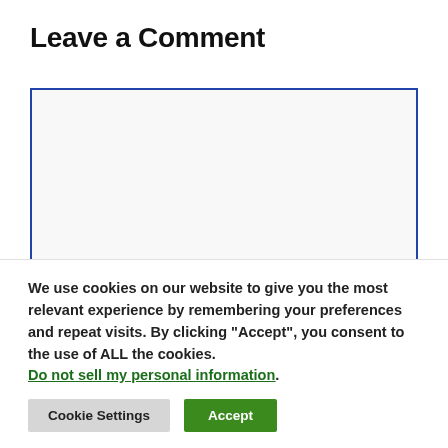Leave a Comment
[Figure (other): Empty text area input box with blue border and light gray background]
We use cookies on our website to give you the most relevant experience by remembering your preferences and repeat visits. By clicking “Accept”, you consent to the use of ALL the cookies. Do not sell my personal information.
Cookie Settings
Accept